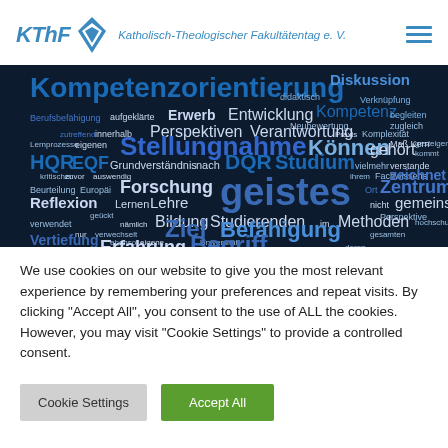KThF Katholisch-Theologischer Fakultätentag e. V.
[Figure (infographic): Word cloud on dark blue/black background with German academic terms: Kompetenzorientierung, Diskussion, geistes, Stellungnahme, Begriff, Erfahrung, Vertiefung, Reflexion, Forschung, Lehre, Bildung, Studierenden, Befähigung, Methoden, EQF, HQR, DQR, Studium, Zentrum, Perspektiven, Verantwortung, Entwicklung, Kompetenz, Erwerb, and many more in varying sizes and blue/white colors]
We use cookies on our website to give you the most relevant experience by remembering your preferences and repeat visits. By clicking "Accept All", you consent to the use of ALL the cookies. However, you may visit "Cookie Settings" to provide a controlled consent.
Cookie Settings
Accept All